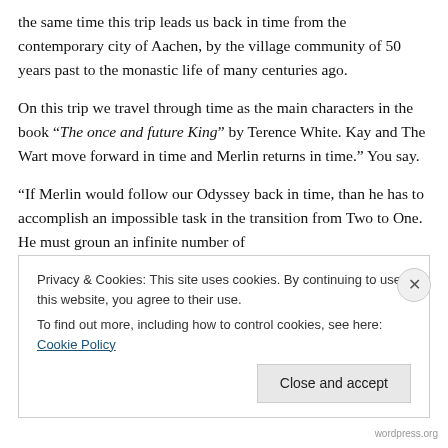the same time this trip leads us back in time from the contemporary city of Aachen, by the village community of 50 years past to the monastic life of many centuries ago.
On this trip we travel through time as the main characters in the book “The once and future King” by Terence White. Kay and The Wart move forward in time and Merlin returns in time.” You say.
“If Merlin would follow our Odyssey back in time, than he has to accomplish an impossible task in the transition from Two to One. He must groun an infinite number of
Privacy & Cookies: This site uses cookies. By continuing to use this website, you agree to their use.
To find out more, including how to control cookies, see here: Cookie Policy
Close and accept